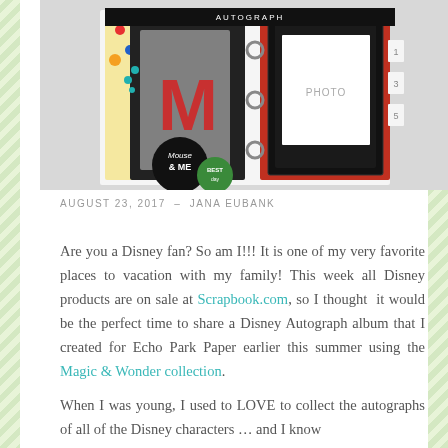[Figure (photo): Photo of a Disney-themed scrapbook mini album showing colorful pages with Mickey Mouse themed paper, an 'M' letter, 'Mouse & ME' text, polka dot patterns, and a photo placeholder slot]
AUGUST 23, 2017  –  JANA EUBANK
Are you a Disney fan? So am I!!! It is one of my very favorite places to vacation with my family! This week all Disney products are on sale at Scrapbook.com, so I thought  it would be the perfect time to share a Disney Autograph album that I created for Echo Park Paper earlier this summer using the Magic & Wonder collection.
When I was young, I used to LOVE to collect the autographs of all of the Disney characters … and I know